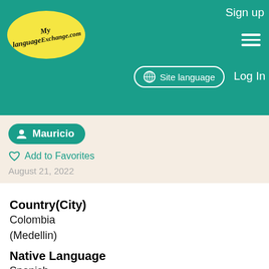MyLanguageExchange.com — Sign up | Site language | Log In
Mauricio
Add to Favorites
August 21, 2022
Country(City)
Colombia
(Medellin)
Native Language
Spanish
English
Practicing Language
German
French
Description
Hi! My name is Mauricio, nice to meet you...